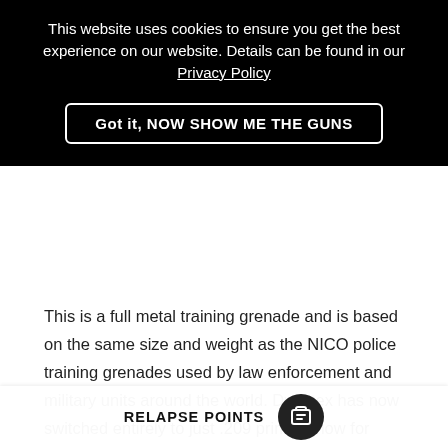This website uses cookies to ensure you get the best experience on our website. Details can be found in our Privacy Policy
Got it, NOW SHOW ME THE GUNS
This is a full metal training grenade and is based on the same size and weight as the NICO police training grenades used by law enforcement and military units around the world. Dynatex has now switched entirely to just .209 primers now for their airsoft BFG due to length testing at the proofing house from 9mm blanks and 12g blanks.
The entire mechanism design is patented by Dynatex (patent no. EP06251303.1) and on the £209 it moves very freely and smoothly to allow detonation … ut the need of a bulky, ugly weight being added to the top of the
RELAPSE POINTS